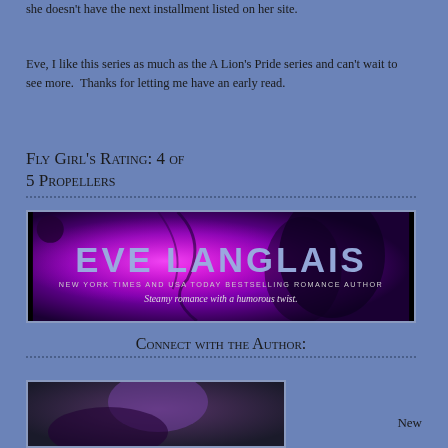she doesn't have the next installment listed on her site.
Eve, I like this series as much as the A Lion's Pride series and can't wait to see more.  Thanks for letting me have an early read.
Fly Girl's Rating: 4 of 5 Propellers
[Figure (illustration): Eve Langlais author banner with purple/pink glowing background, woman with dark hair, text reading 'EVE LANGLAIS', 'NEW YORK TIMES AND USA TODAY BESTSELLING ROMANCE AUTHOR', 'Steamy romance with a humorous twist.']
Connect with the Author:
[Figure (photo): Partial book cover image at bottom left]
New